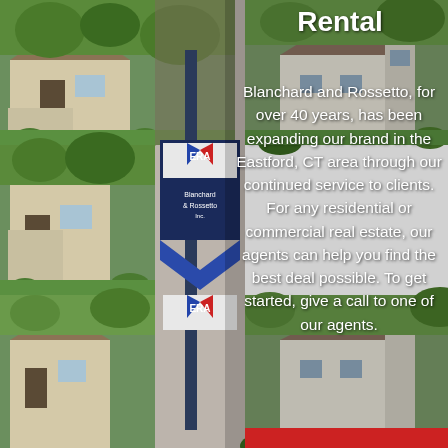[Figure (photo): Collage of real estate property photos showing residential homes with green lawns and an ERA Blanchard & Rossetto real estate sign. Photos are arranged in a tiled grid pattern covering the left and background portions of the image.]
Rental
Blanchard and Rossetto, for over 40 years, has been expanding our brand in the Eastford, CT area through our continued service to clients. For any residential or commercial real estate, our agents can help you find the best deal possible. To get started, give a call to one of our agents.